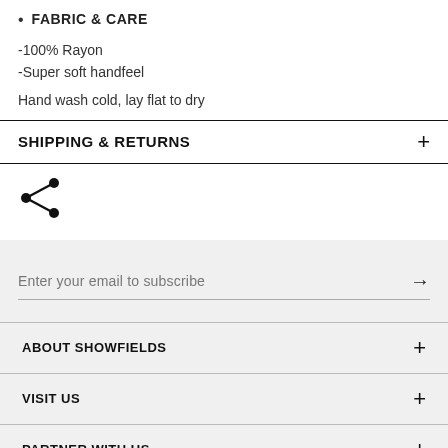FABRIC & CARE
-100% Rayon
-Super soft handfeel
Hand wash cold, lay flat to dry
SHIPPING & RETURNS
[Figure (illustration): Share icon (less-than arrow with dots)]
Enter your email to subscribe
ABOUT SHOWFIELDS
VISIT US
PARTNER WITH US